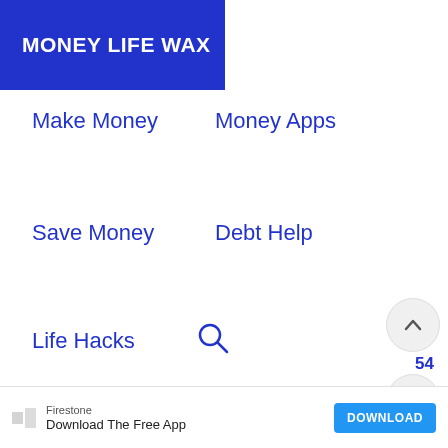MONEY LIFE WAX
Make Money
Money Apps
Save Money
Debt Help
Life Hacks
because of the accruing interest while borrowers are
Firestone
Download The Free App
DOWNLOAD